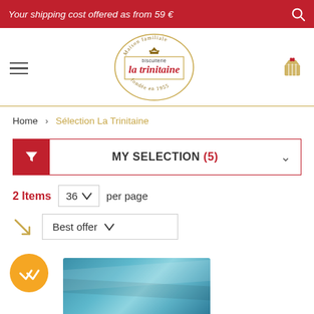Your shipping cost offered as from 59 €
[Figure (logo): La Trinitaine biscuiterie logo — circular stamp design with 'Maison familiale', crown illustration, 'biscuiterie la trinitaine', 'fondée en 1955']
Home > Sélection La Trinitaine
MY SELECTION (5)
2 Items   36 ∨ per page
Best offer ∨
[Figure (photo): Bottom portion of a product box with blue/teal packaging, partially visible. Gold badge with double-check icon in bottom-left corner.]